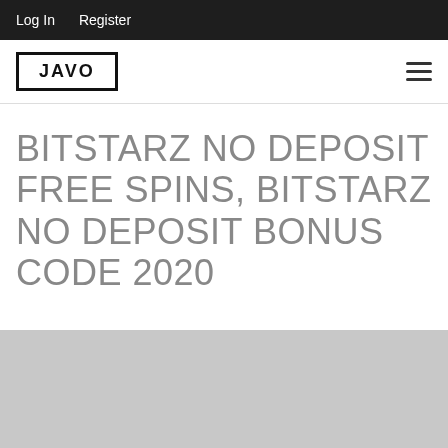Log In   Register
JAVO
BITSTARZ NO DEPOSIT FREE SPINS, BITSTARZ NO DEPOSIT BONUS CODE 2020
[Figure (photo): Gray placeholder image with a lighter gray square in the lower right and a partial white rectangle at the bottom center]